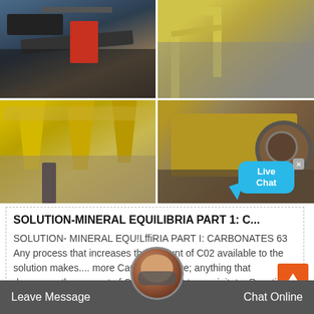[Figure (photo): Industrial mining/crushing machinery photo collage with four images: top-left shows dark ore/coal on conveyor, top-right shows yellow crane/industrial structure, bottom-left shows yellow conical industrial filters/separators, bottom-right shows yellow crushing machinery with large flywheel. A 'Live Chat' speech bubble overlay appears in the lower right of the collage.]
SOLUTION-MINERAL EQUILIBRIA PART 1: C...
SOLUTION- MINERAL EQU!LffiRIA PART I: CARBONATES 63 Any process that increases the amount of C02 available to the solution makes.... more CaC0 3 dissolve; anything that decreases the amount of C02 causes CaC0 to precipitate. Reactions (3-1 )-(3
Leave Message  Chat Online